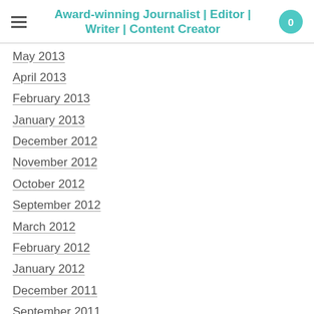Award-winning Journalist | Editor | Writer | Content Creator
May 2013
April 2013
February 2013
January 2013
December 2012
November 2012
October 2012
September 2012
March 2012
February 2012
January 2012
December 2011
September 2011